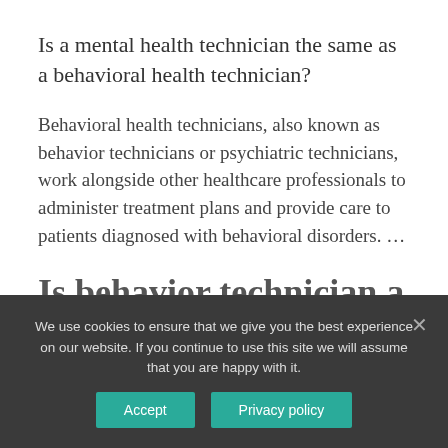Is a mental health technician the same as a behavioral health technician?
Behavioral health technicians, also known as behavior technicians or psychiatric technicians, work alongside other healthcare professionals to administer treatment plans and provide care to patients diagnosed with behavioral disorders. …
Is behavior technician a good job?
We use cookies to ensure that we give you the best experience on our website. If you continue to use this site we will assume that you are happy with it.